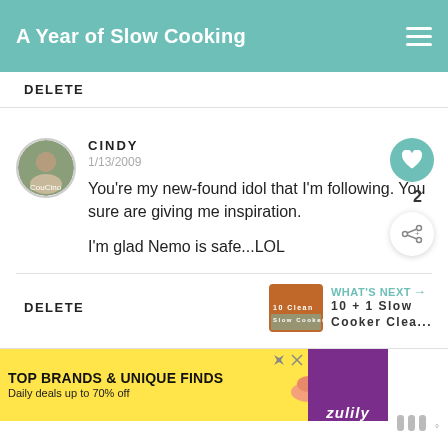A Year of Slow Cooking
DELETE
CINDY
1/13/2009
You're my new-found idol that I'm following. You sure are giving me inspiration.

I'm glad Nemo is safe...LOL
2
DELETE
WHAT'S NEXT → 10 + 1 Slow Cooker Clea...
[Figure (screenshot): Advertisement banner: TOP BRANDS & UNIQUE FINDS, Daily deals up to 70% off, Zulily ad with shoes and purse images]